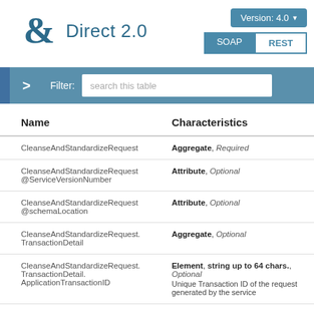Direct 2.0 | Version: 4.0 | SOAP | REST
[Figure (screenshot): Filter bar with search input: 'search this table']
| Name | Characteristics |
| --- | --- |
| CleanseAndStandardizeRequest | Aggregate, Required |
| CleanseAndStandardizeRequest @ServiceVersionNumber | Attribute, Optional |
| CleanseAndStandardizeRequest @schemaLocation | Attribute, Optional |
| CleanseAndStandardizeRequest. TransactionDetail | Aggregate, Optional |
| CleanseAndStandardizeRequest. TransactionDetail. ApplicationTransactionID | Element, string up to 64 chars., Optional Unique Transaction ID of the request generated by the service |